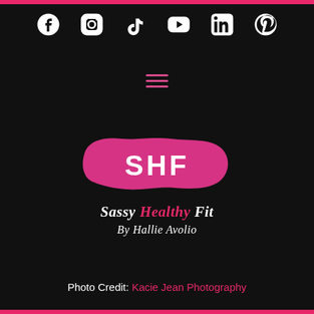[Figure (logo): Social media icons row: Facebook, Instagram, TikTok, YouTube, LinkedIn, Pinterest in white on dark background]
[Figure (logo): Hamburger menu icon in pink/magenta]
[Figure (logo): Sassy Healthy Fit logo with pink paint splash background, SHF initials, brand name 'Sassy Healthy Fit By Hallie Avolio' in script]
Photo Credit: Kacie Jean Photography